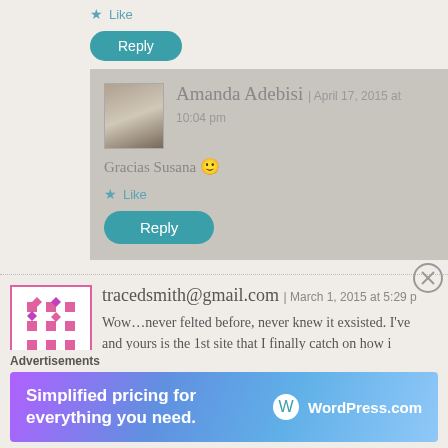Like
Reply
Amanda Adebisi | April 17, 2015 at 10:04 pm
Gracias Susana 🙂
Like
Reply
tracedsmith@gmail.com | March 1, 2015 at 5:29 p
Wow…never felted before, never knew it exsisted. I've and yours is the 1st site that I finally catch on how i
Advertisements
[Figure (screenshot): WordPress.com advertisement banner: 'Simplified pricing for everything you need.' with WordPress.com logo]